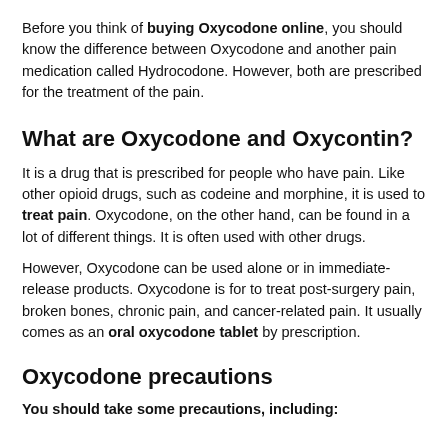Before you think of buying Oxycodone online, you should know the difference between Oxycodone and another pain medication called Hydrocodone. However, both are prescribed for the treatment of the pain.
What are Oxycodone and Oxycontin?
It is a drug that is prescribed for people who have pain. Like other opioid drugs, such as codeine and morphine, it is used to treat pain. Oxycodone, on the other hand, can be found in a lot of different things. It is often used with other drugs.
However, Oxycodone can be used alone or in immediate-release products. Oxycodone is for to treat post-surgery pain, broken bones, chronic pain, and cancer-related pain. It usually comes as an oral oxycodone tablet by prescription.
Oxycodone precautions
You should take some precautions, including: